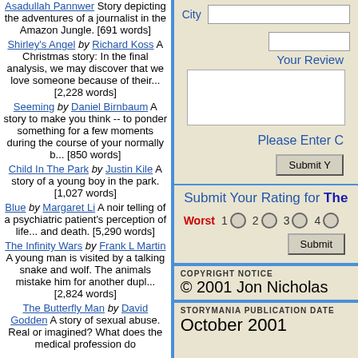Asadullah Pannwer Story depicting the adventures of a journalist in the Amazon Jungle. [691 words]
Shirley's Angel by Richard Koss A Christmas story: In the final analysis, we may discover that we love someone because of their... [2,228 words]
Seeming by Daniel Birnbaum A story to make you think -- to ponder something for a few moments during the course of your normally b... [850 words]
Child In The Park by Justin Kile A story of a young boy in the park. [1,027 words]
Blue by Margaret Li A noir telling of a psychiatric patient's perception of life... and death. [5,290 words]
The Infinity Wars by Frank L Martin A young man is visited by a talking snake and wolf. The animals mistake him for another dupl... [2,824 words]
The Butterfly Man by David Godden A story of sexual abuse. Real or imagined? What does the medical profession do
City
Your Review
Please Enter C
Submit Y
Submit Your Rating for The
Worst  1  2  3  4
Submit
COPYRIGHT NOTICE
© 2001 Jon Nicholas
STORYMANIA PUBLICATION DATE
October 2001